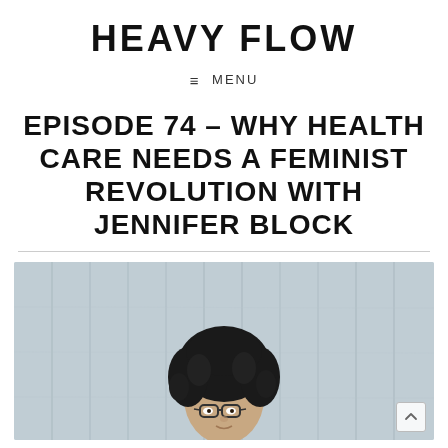HEAVY FLOW
≡ MENU
EPISODE 74 – WHY HEALTH CARE NEEDS A FEMINIST REVOLUTION WITH JENNIFER BLOCK
[Figure (photo): Portrait photo of Jennifer Block, a woman with dark curly hair and glasses, seated in front of a light wood-plank background.]